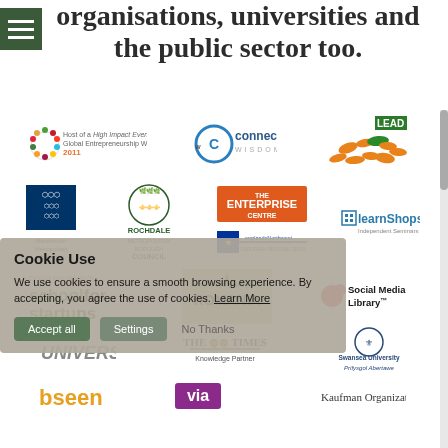organisations, universities and the public sector too.
[Figure (logo): Grid of partner organisation logos including: Host of a High Impact Event for Global Entrepreneurship Week 2011, Connect Wisdom, LEAD (fish logo), Manchester Metropolitan University, Rochdale Metropolitan Borough Council, The Enterprise Centre, learnShops Independent Seminars, European Regional Development Fund / englandsNorthwest, Doug Richard's School for Startups, School for Startups Romania, Social Media Library, The Times Knowledge Partner, Swansea University Prifysgol Abertawe, bseen, via, Kaufman Organization]
Cookie Use
We use cookies to ensure a smooth browsing experience. By accepting, you agree the use of cookies. Learn More
[Figure (logo): Bottom partial logos: bseen, via, Kaufman Organization]